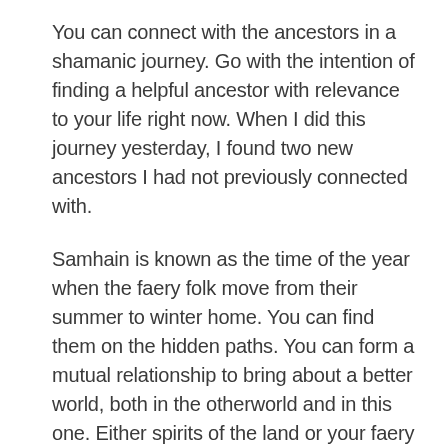You can connect with the ancestors in a shamanic journey. Go with the intention of finding a helpful ancestor with relevance to your life right now. When I did this journey yesterday, I found two new ancestors I had not previously connected with.
Samhain is known as the time of the year when the faery folk move from their summer to winter home. You can find them on the hidden paths. You can form a mutual relationship to bring about a better world, both in the otherworld and in this one. Either spirits of the land or your faery ancestors may answer the call. (Meet the faery folk in a workshop)